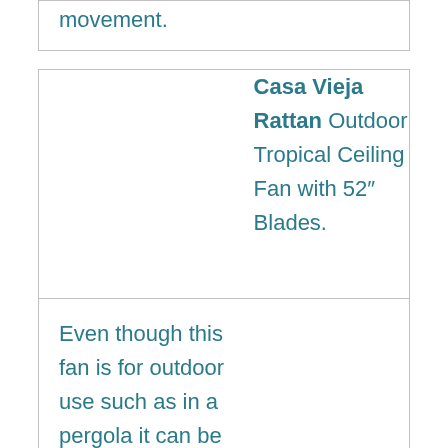movement.
|  | Casa Vieja Rattan Outdoor Tropical Ceiling Fan with 52″ Blades. |
| Even though this fan is for outdoor use such as in a pergola it can be used on a sun porch with a high ceiling, however, it does look better used as an outside fan. The air movement with these |  |